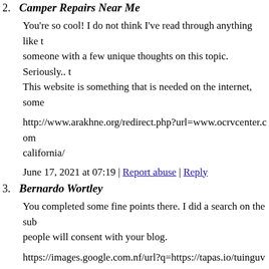2. Camper Repairs Near Me
You're so cool! I do not think I've read through anything like t... someone with a few unique thoughts on this topic. Seriously.. t This website is something that is needed on the internet, some...
http://www.arakhne.org/redirect.php?url=www.ocrvcenter.com california/
June 17, 2021 at 07:19 | Report abuse | Reply
3. Bernardo Wortley
You completed some fine points there. I did a search on the sub... people will consent with your blog.
https://images.google.com.nf/url?q=https://tapas.io/tuinguvanp
June 17, 2021 at 11:46 | Report abuse | Reply
4. 서울방
A fascinating discussion is worth comment. I do think that you... subject, it may not be a taboo matter but typically people don't next! Kind regards!!
https://xn--7sbabr7abmoddedvfl.xn--p1ai/user/profile/104016
June 17, 2021 at 13:55 | Report abuse | Reply